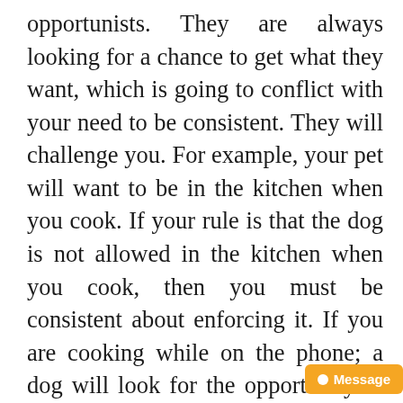opportunists. They are always looking for a chance to get what they want, which is going to conflict with your need to be consistent. They will challenge you. For example, your pet will want to be in the kitchen when you cook. If your rule is that the dog is not allowed in the kitchen when you cook, then you must be consistent about enforcing it. If you are cooking while on the phone; a dog will look for the opportunity to be in the kitchen when you are distracted. In order to effectively train your dog, you need to stop your conversation and enforce this rule or your dog will come to believe you are no...